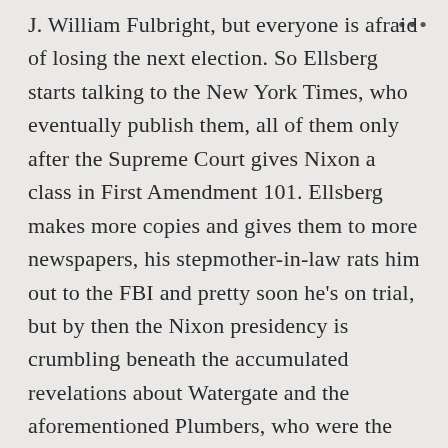J. William Fulbright, but everyone is afraid of losing the next election. So Ellsberg starts talking to the New York Times, who eventually publish them, all of them only after the Supreme Court gives Nixon a class in First Amendment 101. Ellsberg makes more copies and gives them to more newspapers, his stepmother-in-law rats him out to the FBI and pretty soon he’s on trial, but by then the Nixon presidency is crumbling beneath the accumulated revelations about Watergate and the aforementioned Plumbers, who were the biggest bunch of clowns ever seen outside of Barnum and Bailey. The night they got busted by the security guard? Was their fourth attempt to